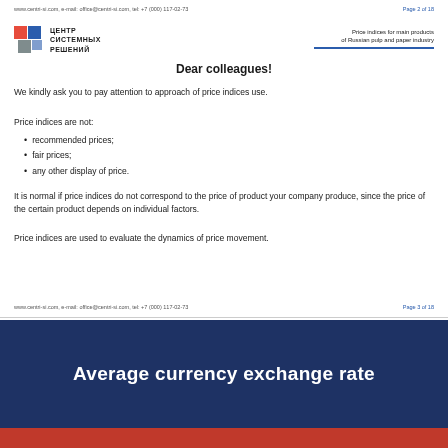www.centri-si.com, e-mail: office@centri-si.com, tel: +7 (000) 117-02-73   Page 2 of 18
[Figure (logo): Logo with colored squares and Cyrillic text: ЦЕНТР СИСТЕМНЫХ РЕШЕНИЙ]
Price indices for main products of Russian pulp and paper industry
Dear colleagues!
We kindly ask you to pay attention to approach of price indices use.
Price indices are not:
recommended prices;
fair prices;
any other display of price.
It is normal if price indices do not correspond to the price of product your company produce, since the price of the certain product depends on individual factors.
Price indices are used to evaluate the dynamics of price movement.
www.centri-si.com, e-mail: office@centri-si.com, tel: +7 (000) 117-02-73   Page 3 of 18
Average currency exchange rate